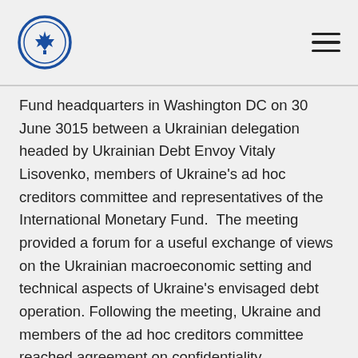[Logo] [Hamburger menu]
Fund headquarters in Washington DC on 30 June 3015 between a Ukrainian delegation headed by Ukrainian Debt Envoy Vitaly Lisovenko, members of Ukraine's ad hoc creditors committee and representatives of the International Monetary Fund.  The meeting provided a forum for a useful exchange of views on the Ukrainian macroeconomic setting and technical aspects of Ukraine's envisaged debt operation. Following the meeting, Ukraine and members of the ad hoc creditors committee reached agreement on confidentiality arrangements that will allow principal to principal negotiations on the substance of possible solution to start next week. The parties have agreed to enter such negotiations in good faith, with no preconditions